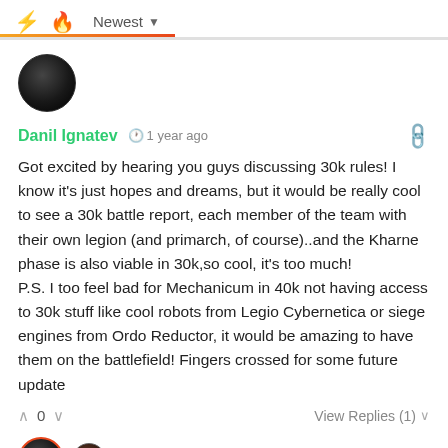⚡ 🔥 Newest ▼
[Figure (photo): Dark circular avatar image of a user profile photo]
Danil Ignatev  🕐 1 year ago
Got excited by hearing you guys discussing 30k rules! I know it's just hopes and dreams, but it would be really cool to see a 30k battle report, each member of the team with their own legion (and primarch, of course)..and the Kharne phase is also viable in 30k,so cool, it's too much!
P.S. I too feel bad for Mechanicum in 40k not having access to 30k stuff like cool robots from Legio Cybernetica or siege engines from Ordo Reductor, it would be amazing to have them on the battlefield! Fingers crossed for some future update
∧ 0 ∨  View Replies (1) ∨
[Figure (photo): Two small circular avatar images at the bottom, one with a red border]